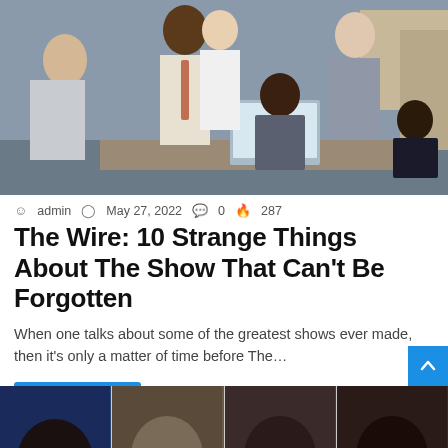[Figure (photo): Group of actors from The Wire TV show gathered around a desk with a laptop in what appears to be a police office setting]
admin  May 27, 2022  0  287
The Wire: 10 Strange Things About The Show That Can't Be Forgotten
When one talks about some of the greatest shows ever made, then it's only a matter of time before The…
Read More »
[Figure (photo): Strip of four partial headshots of people at the bottom of the page]